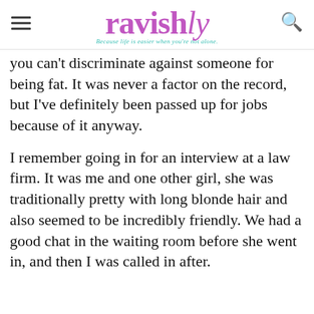ravishly — Because life is easier when you're not alone.
you can't discriminate against someone for being fat. It was never a factor on the record, but I've definitely been passed up for jobs because of it anyway.
I remember going in for an interview at a law firm. It was me and one other girl, she was traditionally pretty with long blonde hair and also seemed to be incredibly friendly. We had a good chat in the waiting room before she went in, and then I was called in after.